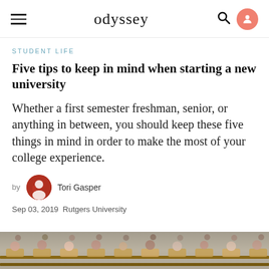odyssey
STUDENT LIFE
Five tips to keep in mind when starting a new university
Whether a first semester freshman, senior, or anything in between, you should keep these five things in mind in order to make the most of your college experience.
by Tori Gasper
Sep 03, 2019  Rutgers University
[Figure (photo): A lecture hall viewed from behind, showing rows of students seated at wooden desks, photographed in a shallow depth-of-field style.]